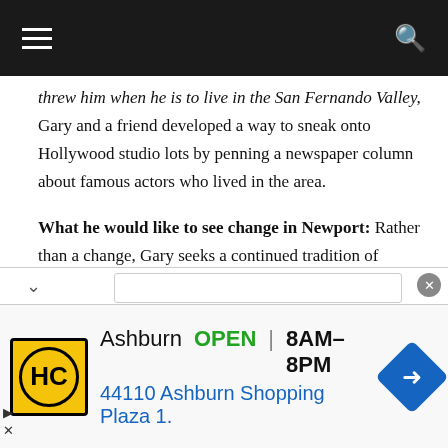navigation header with hamburger menu and search icon
threw him when he is to live in the San Fernando Valley, Gary and a friend developed a way to sneak onto Hollywood studio lots by penning a newspaper column about famous actors who lived in the area.
What he would like to see change in Newport: Rather than a change, Gary seeks a continued tradition of “good civic leadership” as four Newport Beach City Council seats come up for election in November 2014. He says the city has been blessed with council members who think like entrepreneurs and understand the importance of